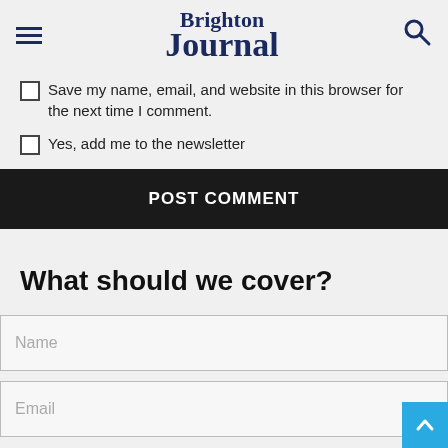Brighton Journal
Save my name, email, and website in this browser for the next time I comment.
Yes, add me to the newsletter
POST COMMENT
What should we cover?
Name
Email